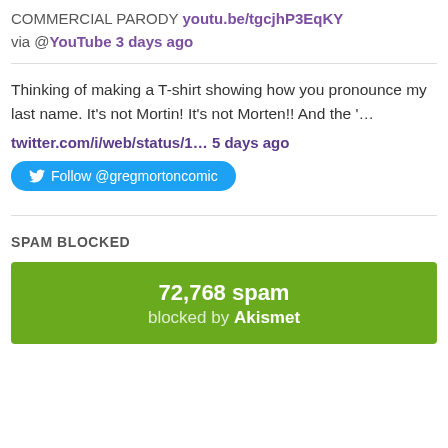COMMERCIAL PARODY youtu.be/tgcjhP3EqKY via @YouTube 3 days ago
Thinking of making a T-shirt showing how you pronounce my last name. It's not Mortin! It's not Morten!! And the '…
twitter.com/i/web/status/1… 5 days ago
Follow @gregmortoncomic
SPAM BLOCKED
72,768 spam blocked by Akismet